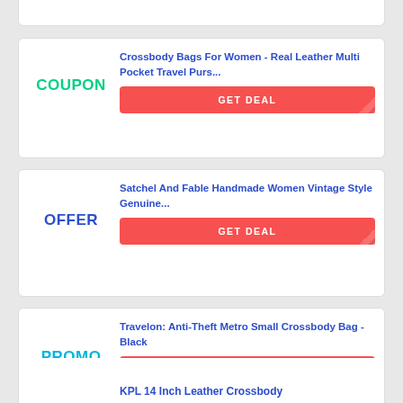COUPON
Crossbody Bags For Women - Real Leather Multi Pocket Travel Purs...
GET DEAL
OFFER
Satchel And Fable Handmade Women Vintage Style Genuine...
GET DEAL
PROMO
Travelon: Anti-Theft Metro Small Crossbody Bag - Black
GET DEAL
KPL 14 Inch Leather Crossbody